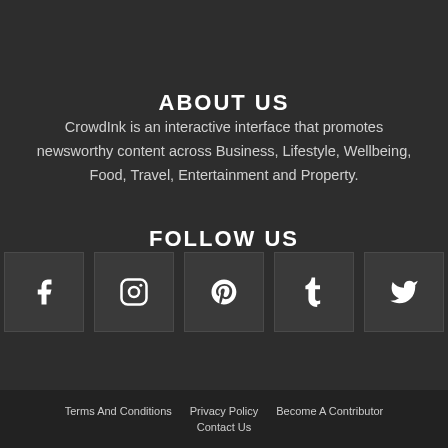ABOUT US
CrowdInk is an interactive interface that promotes newsworthy content across Business, Lifestyle, Wellbeing, Food, Travel, Entertainment and Property.
FOLLOW US
[Figure (infographic): Five social media icon boxes: Facebook, Instagram, Pinterest, Tumblr, Twitter]
Terms And Conditions   Privacy Policy   Become A Contributor   Contact Us